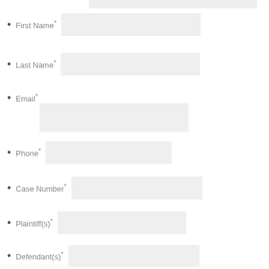First Name*
Last Name*
Email*
Phone*
Case Number*
Plaintiff(s)*
Defendant(s)*
Court Name*